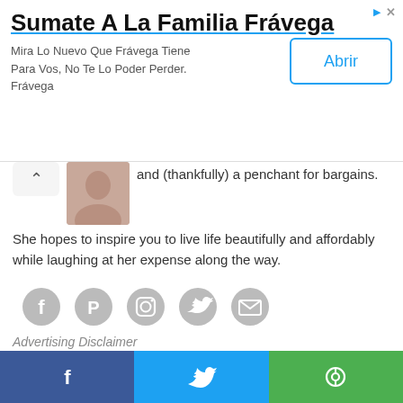[Figure (screenshot): Advertisement banner for Sumate A La Familia Frávega with title, body text and Abrir button]
and (thankfully) a penchant for bargains. She hopes to inspire you to live life beautifully and affordably while laughing at her expense along the way.
[Figure (illustration): Row of five social media icons: Facebook, Pinterest, Instagram, Twitter, Email — all in light grey]
[Figure (illustration): Decorative text reading LET'S GET SOCIAL in teal/mint hand-lettered style with a pink curved arrow]
Advertising Disclaimer
[Figure (illustration): Footer bar with three sections: Facebook (dark blue), Twitter (light blue), Share/camera (green) icons]